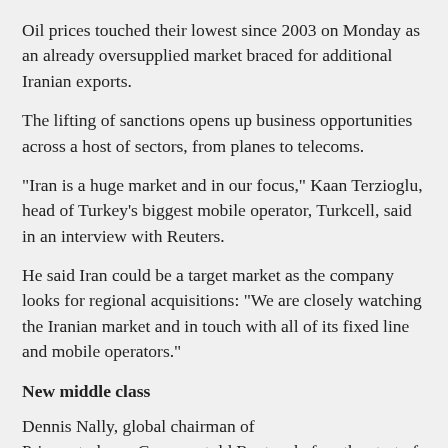Oil prices touched their lowest since 2003 on Monday as an already oversupplied market braced for additional Iranian exports.
The lifting of sanctions opens up business opportunities across a host of sectors, from planes to telecoms.
"Iran is a huge market and in our focus," Kaan Terzioglu, head of Turkey's biggest mobile operator, Turkcell, said in an interview with Reuters.
He said Iran could be a target market as the company looks for regional acquisitions: "We are closely watching the Iranian market and in touch with all of its fixed line and mobile operators."
New middle class
Dennis Nally, global chairman of PricewaterhouseCoopers, told Reuters before the start of this week's World Economic Forum in Davos that the audit and consultancy firm was seeing strong client interest in opportunities in Iran.